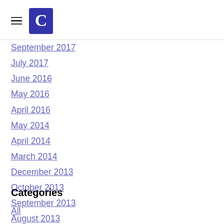[Logo and navigation menu icon]
September 2017
July 2017
June 2016
May 2016
April 2016
May 2014
April 2014
March 2014
December 2013
October 2013
September 2013
August 2013
December 2012
Categories
All